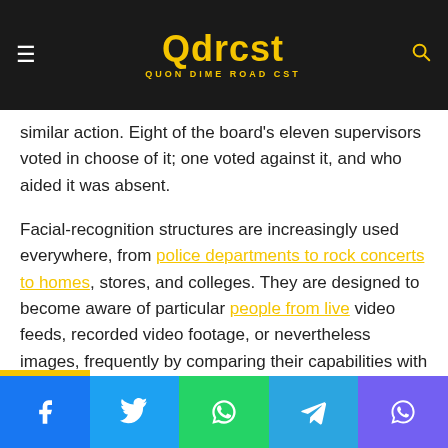Qdrcst — QUON DIME ROAD CST
The law, which outlaws the usage of the facial-reputation in government departments, may also insist neighborhood governments to take similar action. Eight of the board's eleven supervisors voted in choose of it; one voted against it, and who aided it was absent.
Facial-recognition structures are increasingly used everywhere, from police departments to rock concerts to homes, stores, and colleges. They are designed to become aware of particular people from live video feeds, recorded video footage, or nevertheless images, frequently by comparing their capabilities with a set of faces (including mugshots).
Facebook | Twitter | WhatsApp | Telegram | Viber